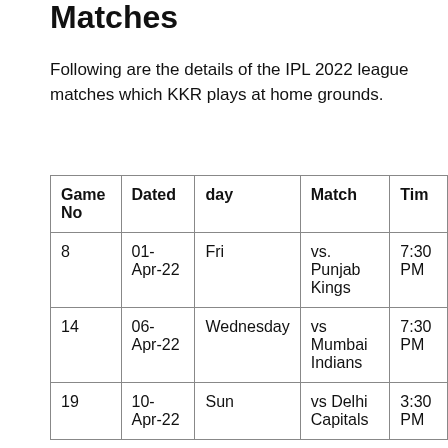Matches
Following are the details of the IPL 2022 league matches which KKR plays at home grounds.
| Game No | Dated | day | Match | Time |
| --- | --- | --- | --- | --- |
| 8 | 01-Apr-22 | Fri | vs. Punjab Kings | 7:30 PM |
| 14 | 06-Apr-22 | Wednesday | vs Mumbai Indians | 7:30 PM |
| 19 | 10-Apr-22 | Sun | vs Delhi Capitals | 3:30 PM |